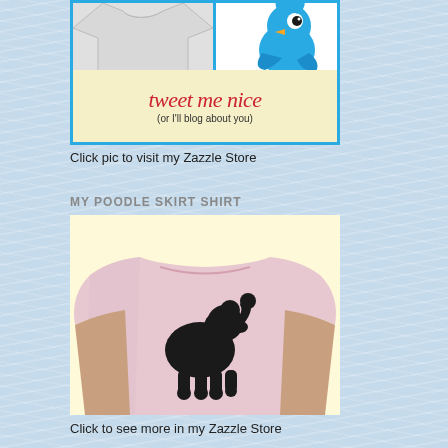[Figure (illustration): A framed image with a blue border showing a t-shirt on the left and a blue Twitter bird on the right, with a banner reading 'tweet me nice (or I'll blog about you)' on a yellow background.]
Click pic to visit my Zazzle Store
MY POODLE SKIRT SHIRT
[Figure (photo): A pink t-shirt worn by a person, featuring a black poodle silhouette design on the front, displayed against a pale yellow background.]
Click to see more in my Zazzle Store